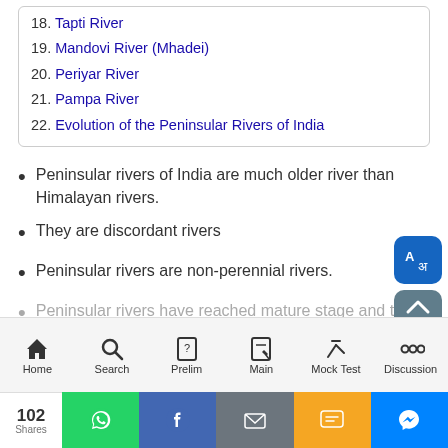18. Tapti River
19. Mandovi River (Mhadei)
20. Periyar River
21. Pampa River
22. Evolution of the Peninsular Rivers of India
Peninsular rivers of India are much older river than Himalayan rivers.
They are discordant rivers
Peninsular rivers are non-perennial rivers.
Peninsular rivers have reached mature stage and their
Home  Search  Prelim  Main  Mock Test  Discussion
102 Shares | WhatsApp | Facebook | Email | SMS | Messenger